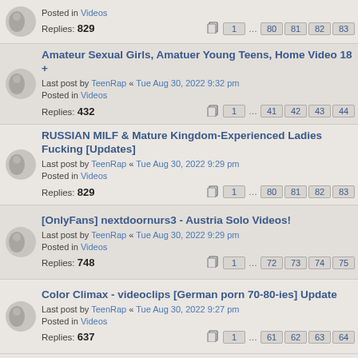Posted in Videos
Replies: 829
Pages: 1 ... 80 81 82 83
Amateur Sexual Girls, Amatuer Young Teens, Home Video 18 +
Last post by TeenRap « Tue Aug 30, 2022 9:32 pm
Posted in Videos
Replies: 432
Pages: 1 ... 41 42 43 44
RUSSIAN MILF & Mature Kingdom-Experienced Ladies Fucking [Updates]
Last post by TeenRap « Tue Aug 30, 2022 9:29 pm
Posted in Videos
Replies: 829
Pages: 1 ... 80 81 82 83
[OnlyFans] nextdoornurs3 - Austria Solo Videos!
Last post by TeenRap « Tue Aug 30, 2022 9:29 pm
Posted in Videos
Replies: 748
Pages: 1 ... 72 73 74 75
Color Climax - videoclips [German porn 70-80-ies] Update
Last post by TeenRap « Tue Aug 30, 2022 9:27 pm
Posted in Videos
Replies: 637
Pages: 1 ... 61 62 63 64
Pinoy Filipina Philippines Actress Hot Nude Sex Videos